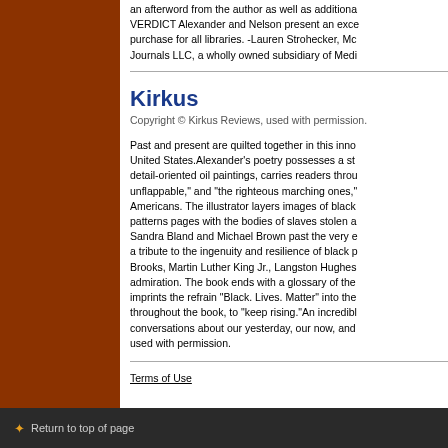an afterword from the author as well as additional VERDICT Alexander and Nelson present an excellent purchase for all libraries. -Lauren Strohecker, Mc Journals LLC, a wholly owned subsidiary of Medi
Kirkus
Copyright © Kirkus Reviews, used with permission.
Past and present are quilted together in this inno United States.Alexander's poetry possesses a str detail-oriented oil paintings, carries readers throu unflappable," and "the righteous marching ones," Americans. The illustrator layers images of black patterns pages with the bodies of slaves stolen a Sandra Bland and Michael Brown past the very e a tribute to the ingenuity and resilience of black p Brooks, Martin Luther King Jr., Langston Hughes admiration. The book ends with a glossary of the imprints the refrain "Black. Lives. Matter" into the throughout the book, to "keep rising."An incredib conversations about our yesterday, our now, and used with permission.
Terms of Use
↑ Return to top of page